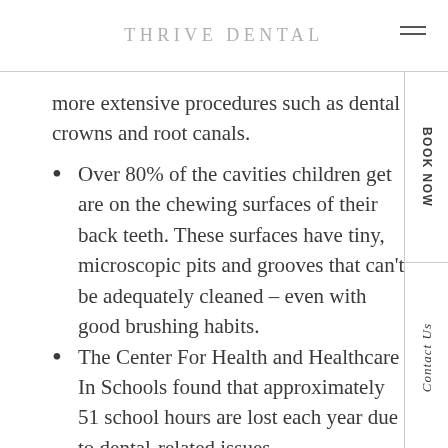THRIVE DENTAL
more extensive procedures such as dental crowns and root canals.
Over 80% of the cavities children get are on the chewing surfaces of their back teeth. These surfaces have tiny, microscopic pits and grooves that can't be adequately cleaned – even with good brushing habits.
The Center For Health and Healthcare In Schools found that approximately 51 school hours are lost each year due to dental-related issues.